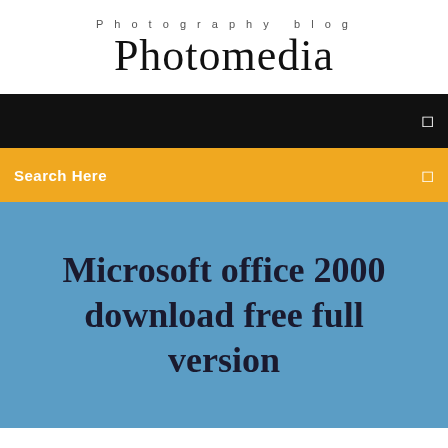Photography blog
Photomedia
[Figure (screenshot): Black navigation bar with a small white icon on the right]
[Figure (screenshot): Yellow/orange search bar with 'Search Here' text on left and small icon on right]
Microsoft office 2000 download free full version